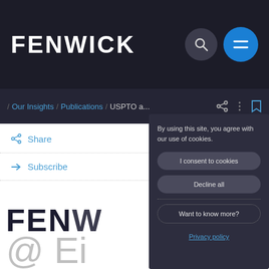FENWICK
/ Our Insights / Publications / USPTO a...
Share
Subscribe
[Figure (screenshot): Cookie consent modal overlay on Fenwick law firm website with buttons: I consent to cookies, Decline all, Want to know more?, and Privacy policy link]
By using this site, you agree with our use of cookies.
I consent to cookies
Decline all
Want to know more?
Privacy policy
FENWICK